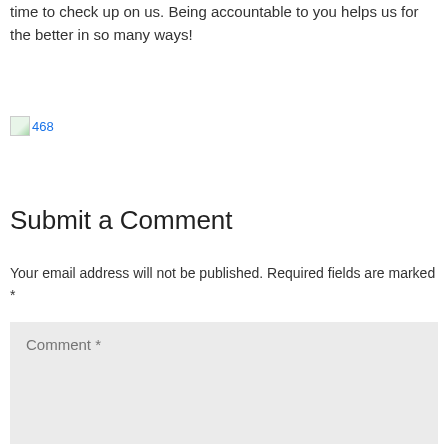time to check up on us. Being accountable to you helps us for the better in so many ways!
[Figure (other): Broken image placeholder showing a small landscape thumbnail icon with alt text '468']
Submit a Comment
Your email address will not be published. Required fields are marked *
Comment *